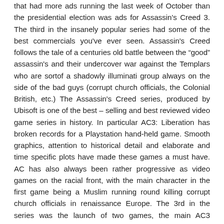that had more ads running the last week of October than the presidential election was ads for Assassin's Creed 3. The third in the insanely popular series had some of the best commercials you've ever seen. Assassin's Creed follows the tale of a centuries old battle between the "good" assassin's and their undercover war against the Templars who are sortof a shadowly illuminati group always on the side of the bad guys (corrupt church officials, the Colonial British, etc.) The Assassin's Creed series, produced by Ubisoft is one of the best – selling and best reviewed video game series in history. In particular AC3: Liberation has broken records for a Playstation hand-held game. Smooth graphics, attention to historical detail and elaborate and time specific plots have made these games a must have. AC has also always been rather progressive as video games on the racial front, with the main character in the first game being a Muslim running round killing corrupt church officials in renaissance Europe. The 3rd in the series was the launch of two games, the main AC3 featured on the PS3 system and the AC3: Liberation on the PS Vita. The games would feature an American Indian and an African American woman respectively as main characters. On the surface this was a big step in the gaming